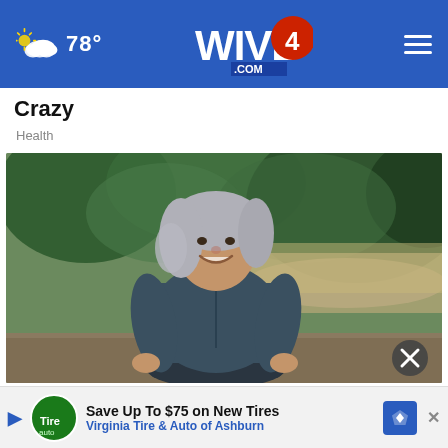78° WIVB4.COM
Crazy
Health
[Figure (photo): Middle-aged woman with silver-gray hair, wearing a dark teal athletic jacket and dark leggings, sitting outdoors on what appears to be a log or bench, smiling. Green trees and a sandy path visible in background.]
Doc
Dow
Save Up To $75 on New Tires Virginia Tire & Auto of Ashburn